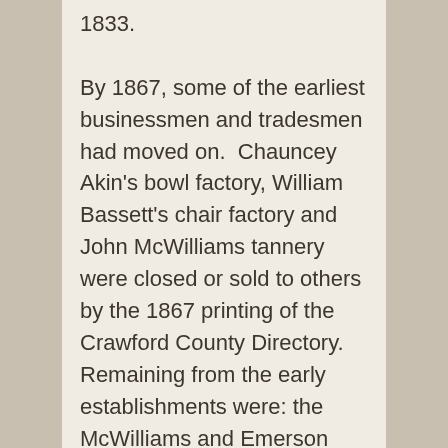1833.

By 1867, some of the earliest businessmen and tradesmen had moved on.  Chauncey Akin's bowl factory, William Bassett's chair factory and John McWilliams tannery were closed or sold to others by the 1867 printing of the Crawford County Directory. Remaining from the early establishments were: the McWilliams and Emerson Carding and Fulling Mill (1849) which had